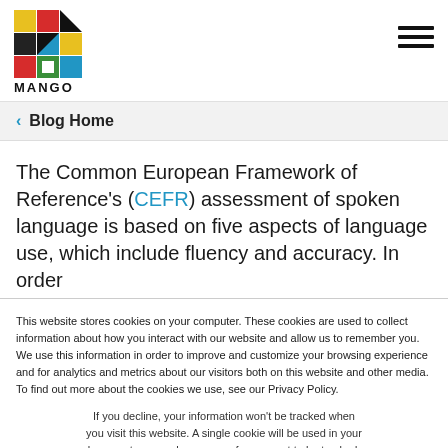[Figure (logo): Mango Languages logo — colorful geometric M shape with squares and triangles in red, blue, yellow, green, black, white]
MANGO
< Blog Home
The Common European Framework of Reference's (CEFR) assessment of spoken language is based on five aspects of language use, which include fluency and accuracy. In order
This website stores cookies on your computer. These cookies are used to collect information about how you interact with our website and allow us to remember you. We use this information in order to improve and customize your browsing experience and for analytics and metrics about our visitors both on this website and other media. To find out more about the cookies we use, see our Privacy Policy.
If you decline, your information won't be tracked when you visit this website. A single cookie will be used in your browser to remember your preference not to be tracked.